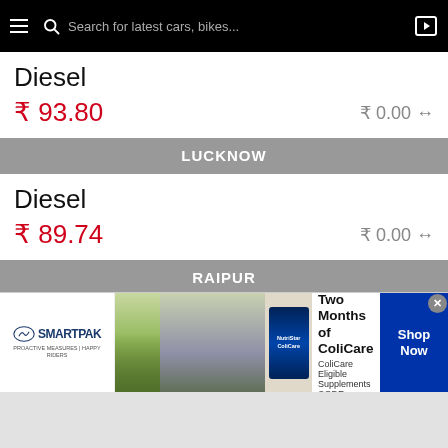Search for latest cars, bikes...
Diesel
₹ 93.80   ₹ 0.00 ↔
LUCKNOW
Diesel
₹ 89.74   ₹ 0.00 ↔
RAIPUR
Diesel
₹ 95.46   ₹ 0.00 ↔
[Figure (other): SmartPak advertisement banner: 50% Off Two Months of ColiCare, ColiCare Eligible Supplements, CODE: COLICARE10, Shop Now]